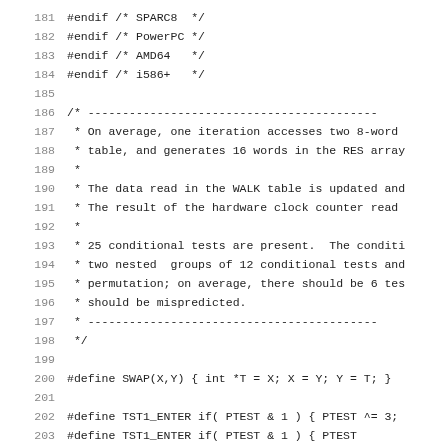181  #endif /* SPARC8  */
182  #endif /* PowerPC */
183  #endif /* AMD64   */
184  #endif /* i586+   */
185
186  /* -----------------------------------------
187   * On average, one iteration accesses two 8-word
188   * table, and generates 16 words in the RES array
189   *
190   * The data read in the WALK table is updated and
191   * The result of the hardware clock counter read
192   *
193   * 25 conditional tests are present.  The conditi
194   * two nested  groups of 12 conditional tests and
195   * permutation; on average, there should be 6 tes
196   * should be mispredicted.
197   * -----------------------------------------
198   */
199
200  #define SWAP(X,Y) { int *T = X; X = Y; Y = T; }
201
202  #define TST1_ENTER if( PTEST & 1 ) { PTEST ^= 3;
203  #define TST1_ENTER if( PTEST & 1 ) { PTEST